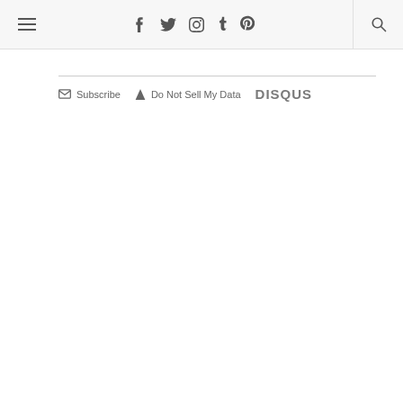Navigation bar with hamburger menu, social icons (Facebook, Twitter, Instagram, Tumblr, Pinterest), and search icon
Subscribe  Do Not Sell My Data  DISQUS